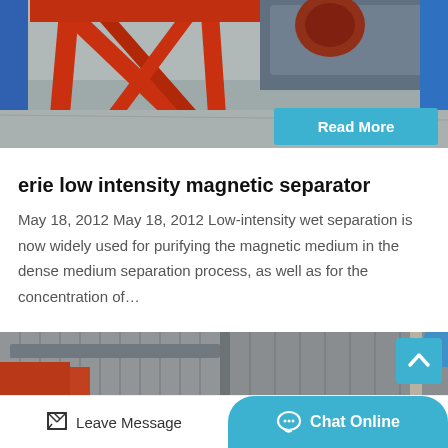[Figure (photo): Industrial magnetic separator equipment with red metal frame structure on a factory floor, viewed at an angle showing red A-frame legs and conveyor machinery in the background.]
Read More
erie low intensity magnetic separator
May 18, 2012 May 18, 2012 Low-intensity wet separation is now widely used for purifying the magnetic medium in the dense medium separation process, as well as for the concentration of…
[Figure (photo): Industrial facility interior showing large grey corrugated metal walls and orange machinery, with steel structural columns.]
Leave Message
Chat Online